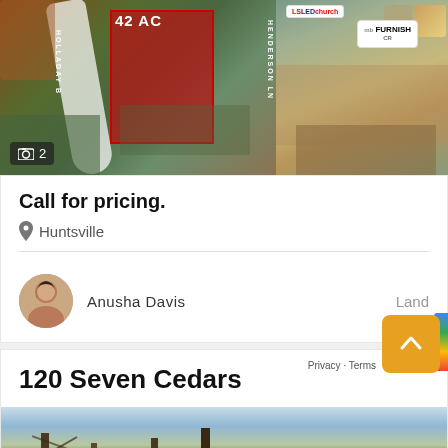[Figure (photo): Aerial map showing a 42 AC land parcel highlighted in red with road labeled HOLLADAY B and HENDERSON LN. Photo count badge shows 2.]
[Figure (photo): Aerial satellite map showing commercial area with FURNISH CR and LED church badges visible.]
Call for pricing.
Huntsville
Anusha Davis
Land
120 Seven Cedars
[Figure (photo): Outdoor photo showing trees against a light sky, bottom portion of listing card.]
Privacy · Terms